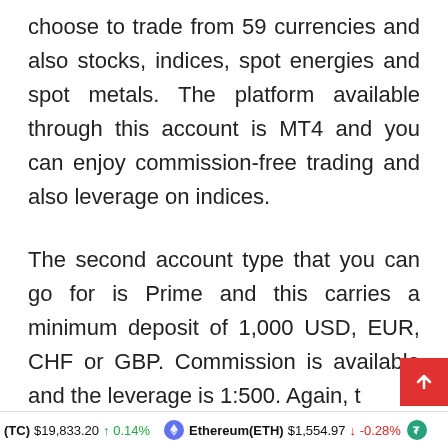choose to trade from 59 currencies and also stocks, indices, spot energies and spot metals. The platform available through this account is MT4 and you can enjoy commission-free trading and also leverage on indices.
The second account type that you can go for is Prime and this carries a minimum deposit of 1,000 USD, EUR, CHF or GBP. Commission is available and the leverage is 1:500. Again, t
(TC) $19,833.20 ↑ 0.14%   Ethereum(ETH) $1,554.97 ↓ -0.28%